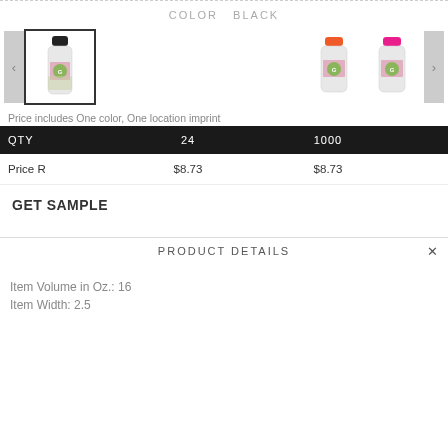COLOR  BLACK
[Figure (photo): Product carousel showing spice grinder bottles. Selected thumbnail has black cap, two other thumbnails show orange cap and pink cap versions. Left and right carousel arrows visible.]
Price includes One color, One location imprint
| QTY | 24 | 1000 |
| --- | --- | --- |
| Price R | $8.73 | $8.73 |
GET SAMPLE
PRODUCT DETAILS
Item Volume in Oz.: 16
Item Width: 2.5